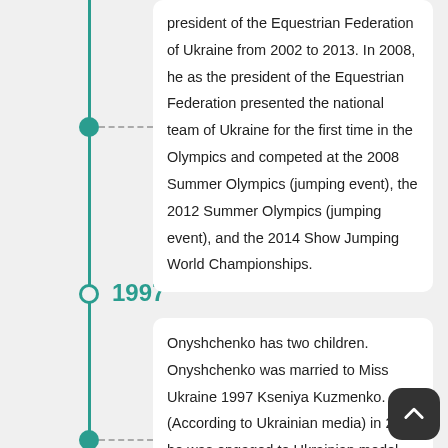president of the Equestrian Federation of Ukraine from 2002 to 2013. In 2008, he as the president of the Equestrian Federation presented the national team of Ukraine for the first time in the Olympics and competed at the 2008 Summer Olympics (jumping event), the 2012 Summer Olympics (jumping event), and the 2014 Show Jumping World Championships.
1997
Onyshchenko has two children. Onyshchenko was married to Miss Ukraine 1997 Kseniya Kuzmenko. (According to Ukrainian media) in 2009 he was engaged to Ukrainian model Snejana Onopka, but the couple didn't marry.